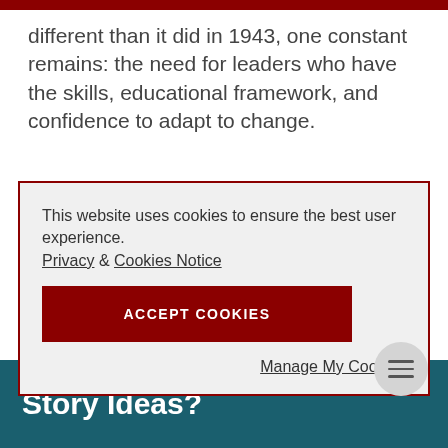different than it did in 1943, one constant remains: the need for leaders who have the skills, educational framework, and confidence to adapt to change.
This website uses cookies to ensure the best user experience.
Privacy & Cookies Notice
ACCEPT COOKIES
Manage My Cookies
world."
Story Ideas?